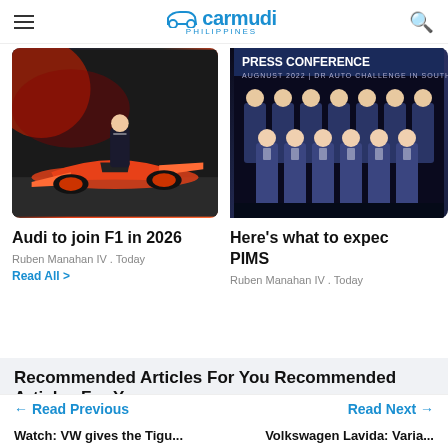carmudi PHILIPPINES
[Figure (photo): Orange and black Audi F1 concept racing car with a man in a suit standing behind it, on a display platform with red ambient lighting]
Audi to join F1 in 2026
Ruben Manahan IV . Today
Read All >
[Figure (photo): Group of men in suits at a PRESS CONFERENCE event, standing in two rows for a formal photo]
Here's what to expect PIMS
Ruben Manahan IV . Today
Recommended Articles For You
← Read Previous
Read Next →
Watch: VW gives the Tigu...
Volkswagen Lavida: Varia...